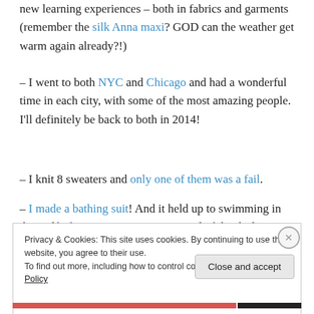new learning experiences – both in fabrics and garments (remember the silk Anna maxi? GOD can the weather get warm again already?!)
– I went to both NYC and Chicago and had a wonderful time in each city, with some of the most amazing people. I'll definitely be back to both in 2014!
– I knit 8 sweaters and only one of them was a fail.
– I made a bathing suit! And it held up to swimming in the Gulf of Mexico! Yes! I'm so proud of that little bugger, you have no idea.
– Another successful year of Me Made May! I had a lot of
Privacy & Cookies: This site uses cookies. By continuing to use this website, you agree to their use. To find out more, including how to control cookies, see here: Cookie Policy